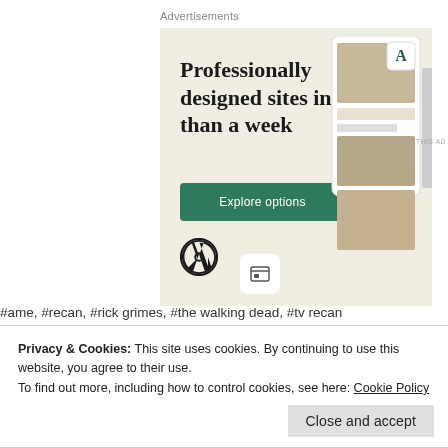Advertisements
[Figure (screenshot): WordPress.com advertisement banner with beige background showing 'Professionally designed sites in less than a week' headline, green 'Explore options' button, WordPress logo, and website screenshot mockups on the right side.]
REPORT THIS AD
#ame, #recan, #rick grimes, #the walking dead, #tv recan
Privacy & Cookies: This site uses cookies. By continuing to use this website, you agree to their use.
To find out more, including how to control cookies, see here: Cookie Policy
Close and accept